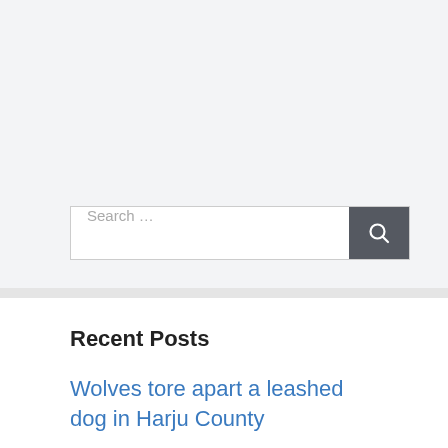[Figure (other): Gray banner/advertisement area at top of page]
Search …
Recent Posts
Wolves tore apart a leashed dog in Harju County